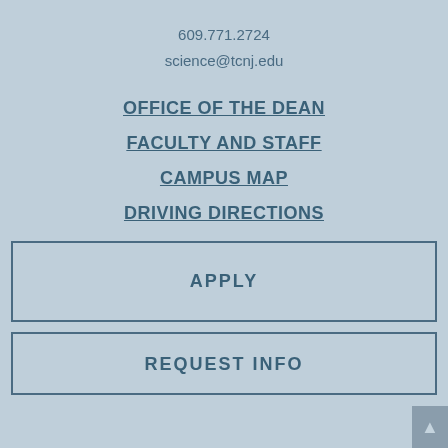609.771.2724
science@tcnj.edu
OFFICE OF THE DEAN
FACULTY AND STAFF
CAMPUS MAP
DRIVING DIRECTIONS
APPLY
REQUEST INFO